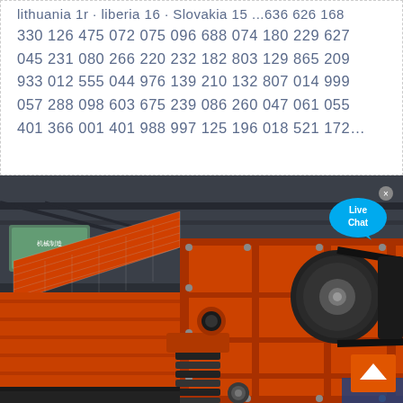lithuania 1r · liberia 16 · Slovakia 15 ...636 626 168
330 126 475 072 075 096 688 074 180 229 627
045 231 080 266 220 232 182 803 129 865 209
933 012 555 044 976 139 210 132 807 014 999
057 288 098 603 675 239 086 260 047 061 055
401 366 001 401 988 997 125 196 018 521 172...
[Figure (photo): Orange industrial vibrating screen / sieving machine photographed in an outdoor industrial facility. The large orange-painted machine has metal panels, bolts, spring suspension components, a belt drive pulley, and a mesh screening surface visible at the upper left. Background shows a warehouse structure.]